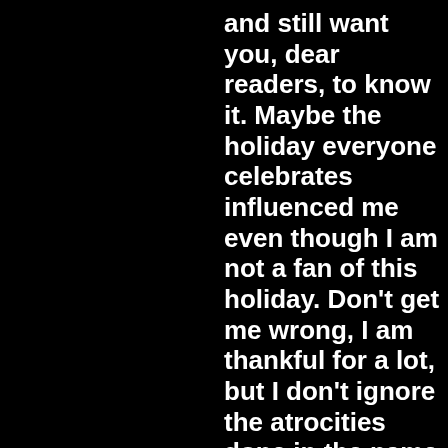and still want you, dear readers, to know it. Maybe the holiday everyone celebrates influenced me even though I am not a fan of this holiday. Don't get me wrong, I am thankful for a lot, but I don't ignore the atrocities done in the name of manifest destiny.

Did I mention I went to a Thanksgiving dinner tonight?